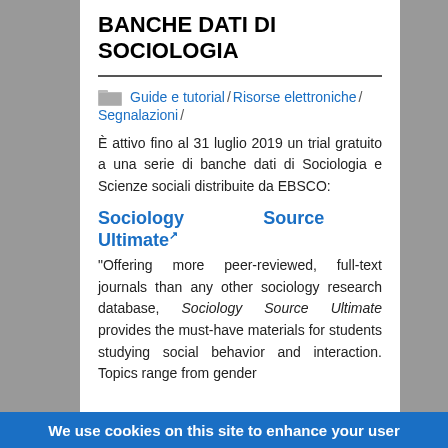BANCHE DATI DI SOCIOLOGIA
Guide e tutorial / Risorse elettroniche / Segnalazioni /
È attivo fino al 31 luglio 2019 un trial gratuito a una serie di banche dati di Sociologia e Scienze sociali distribuite da EBSCO:
Sociology Source Ultimate
"Offering more peer-reviewed, full-text journals than any other sociology research database, Sociology Source Ultimate provides the must-have materials for students studying social behavior and interaction. Topics range from gender
We use cookies on this site to enhance your user